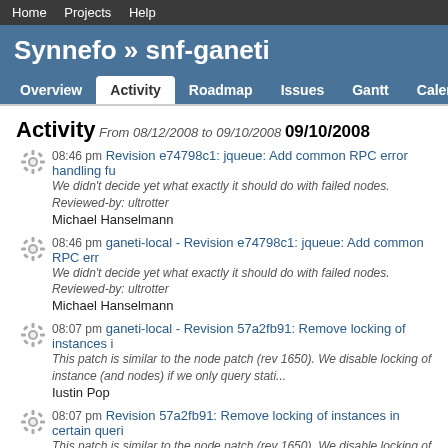Home   Projects   Help
Synnefo » snf-ganeti
Overview  Activity  Roadmap  Issues  Gantt  Calendar  File
Activity
From 08/12/2008 to 09/10/2008
09/10/2008
08:46 pm Revision e74798c1: jqueue: Add common RPC error handling fu
We didn't decide yet what exactly it should do with failed nodes.
Reviewed-by: ultrotter
Michael Hanselmann
08:46 pm ganeti-local - Revision e74798c1: jqueue: Add common RPC err
We didn't decide yet what exactly it should do with failed nodes.
Reviewed-by: ultrotter
Michael Hanselmann
08:07 pm ganeti-local - Revision 57a2fb91: Remove locking of instances i
This patch is similar to the node patch (rev 1650). We disable locking of instance (and nodes) if we only query stati...
Iustin Pop
08:07 pm Revision 57a2fb91: Remove locking of instances in certain queri
This patch is similar to the node patch (rev 1650). We disable locking of instance (and nodes) if we only query stati...
Iustin Pop